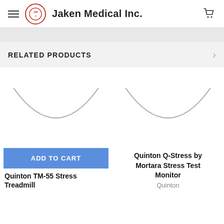Jaken Medical Inc.
RELATED PRODUCTS
[Figure (illustration): Product image placeholder (bottom arc/circle outline) for Quinton TM-55 Stress Treadmill]
[Figure (illustration): Product image placeholder (bottom arc/circle outline) for Quinton Q-Stress by Mortara Stress Test Monitor]
ADD TO CART
Quinton TM-55 Stress Treadmill
Quinton Q-Stress by Mortara Stress Test Monitor
Quinton